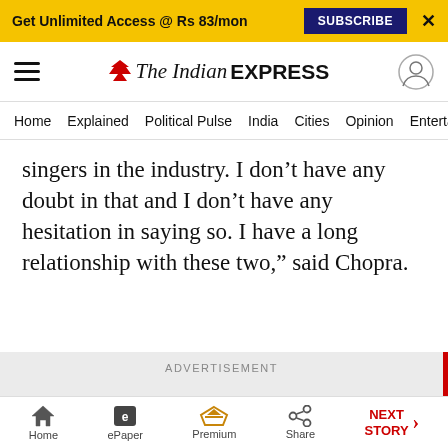Get Unlimited Access @ Rs 83/mon  SUBSCRIBE  X
[Figure (logo): The Indian Express logo with navigation icons]
Home  Explained  Political Pulse  India  Cities  Opinion  Entertainment
singers in the industry. I don’t have any doubt in that and I don’t have any hesitation in saying so. I have a long relationship with these two,” said Chopra.
ADVERTISEMENT
Home  ePaper  Premium  Share  NEXT STORY